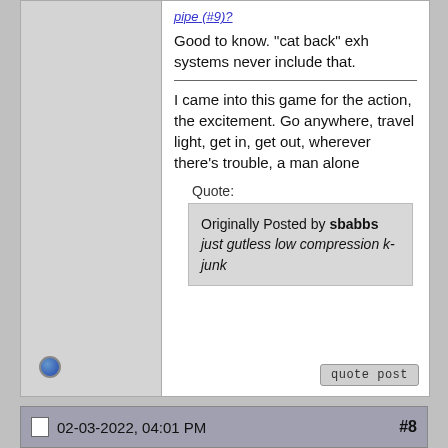pipe (#9)?
Good to know. "cat back" exh systems never include that.
I came into this game for the action, the excitement. Go anywhere, travel light, get in, get out, wherever there's trouble, a man alone
Quote:
Originally Posted by sbabbs
just gutless low compression k-junk
02-03-2022, 04:01 PM
#8